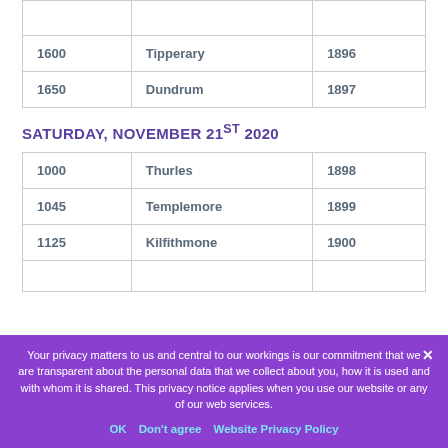|  |  |  |
| --- | --- | --- |
| 1600 | Tipperary | 1896 |
| 1650 | Dundrum | 1897 |
SATURDAY, NOVEMBER 21ST 2020
|  |  |  |
| --- | --- | --- |
| 1000 | Thurles | 1898 |
| 1045 | Templemore | 1899 |
| 1125 | Kilfithmone | 1900 |
Your privacy matters to us and central to our workings is our commitment that we are transparent about the personal data that we collect about you, how it is used and with whom it is shared. This privacy notice applies when you use our website or any of our web services.